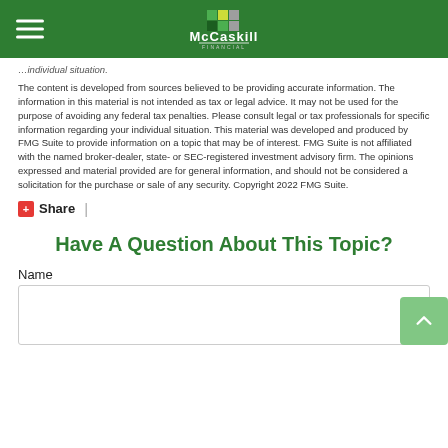McCaskill Financial
individual situation.
The content is developed from sources believed to be providing accurate information. The information in this material is not intended as tax or legal advice. It may not be used for the purpose of avoiding any federal tax penalties. Please consult legal or tax professionals for specific information regarding your individual situation. This material was developed and produced by FMG Suite to provide information on a topic that may be of interest. FMG Suite is not affiliated with the named broker-dealer, state- or SEC-registered investment advisory firm. The opinions expressed and material provided are for general information, and should not be considered a solicitation for the purchase or sale of any security. Copyright 2022 FMG Suite.
Share |
Have A Question About This Topic?
Name